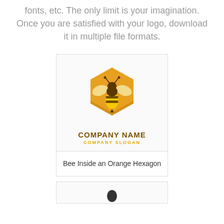fonts, etc. The only limit is your imagination. Once you are satisfied with your logo, download it in multiple file formats.
[Figure (logo): Bee logo inside an orange hexagon with 'COMPANY NAME' in bold brown uppercase and 'COMPANY SLOGAN' in orange uppercase below]
Bee Inside an Orange Hexagon